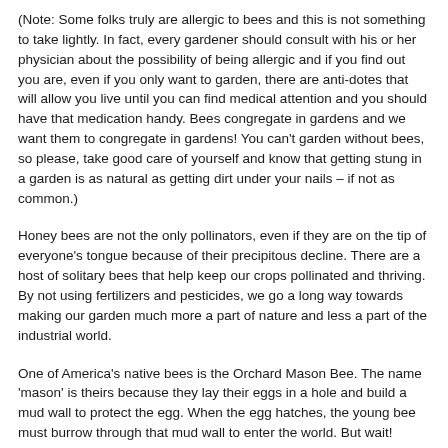(Note: Some folks truly are allergic to bees and this is not something to take lightly. In fact, every gardener should consult with his or her physician about the possibility of being allergic and if you find out you are, even if you only want to garden, there are anti-dotes that will allow you live until you can find medical attention and you should have that medication handy. Bees congregate in gardens and we want them to congregate in gardens! You can't garden without bees, so please, take good care of yourself and know that getting stung in a garden is as natural as getting dirt under your nails – if not as common.)
Honey bees are not the only pollinators, even if they are on the tip of everyone's tongue because of their precipitous decline. There are a host of solitary bees that help keep our crops pollinated and thriving. By not using fertilizers and pesticides, we go a long way towards making our garden much more a part of nature and less a part of the industrial world.
One of America's native bees is the Orchard Mason Bee. The name 'mason' is theirs because they lay their eggs in a hole and build a mud wall to protect the egg. When the egg hatches, the young bee must burrow through that mud wall to enter the world. But wait! There's more! The hole may be deep enough for the laying of five or six eggs. In that case, the last egg laid is the first egg out until the last egg out was the first...